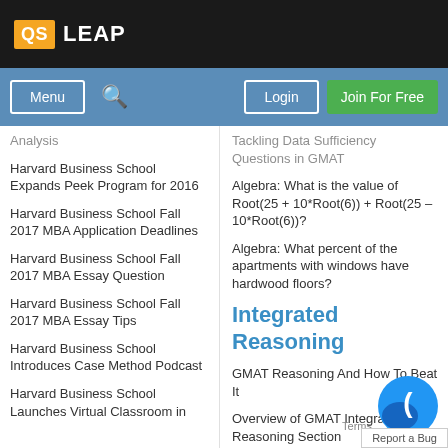QS LEAP
Menu | Login | Join For Free
Analysis
Harvard Business School Expands Peek Program for 2016
Harvard Business School Fall 2017 MBA Application Deadlines
Harvard Business School Fall 2017 MBA Essay Question
Harvard Business School Fall 2017 MBA Essay Tips
Harvard Business School Introduces Case Method Podcast
Harvard Business School Launches Virtual Classroom in
Tackling Data Sufficiency Questions in GMAT
Algebra: What is the value of Root(25 + 10*Root(6)) + Root(25 – 10*Root(6))?
Algebra: What percent of the apartments with windows have hardwood floors?
Integrated Reasoning
GMAT Reasoning And How To Beat It
Overview of GMAT Integrated Reasoning Section